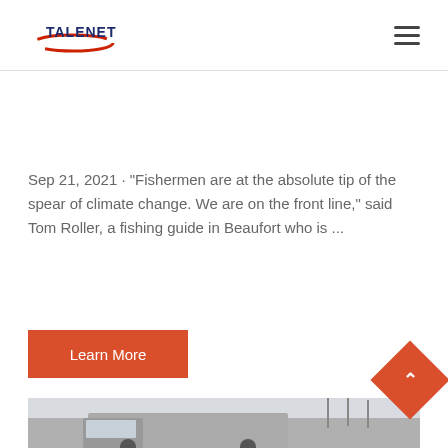TALENET [logo with hamburger menu]
Sep 21, 2021 · "Fishermen are at the absolute tip of the spear of climate change. We are on the front line," said Tom Roller, a fishing guide in Beaufort who is ...
Learn More
[Figure (photo): Truck cab photo showing front of a truck with bare trees in background]